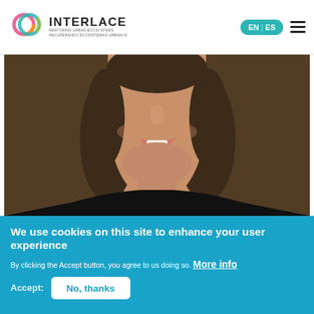INTERLACE — RESTORING URBAN ECOSYSTEMS / RECUPERANDO ECOSISTEMAS URBANOS — EN / ES language toggle — hamburger menu
[Figure (photo): Close-up portrait photo of a smiling woman with curly brown hair, wearing a black top, against a dark brown background.]
We use cookies on this site to enhance your user experience
By clicking the Accept button, you agree to us doing so. More info
Accept:  No, thanks